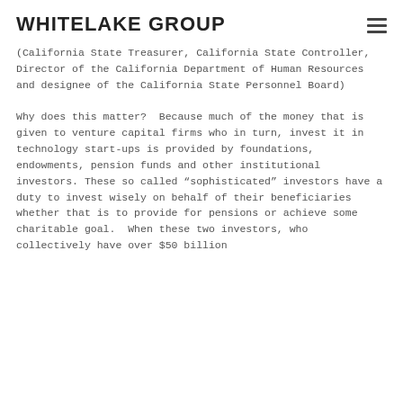WHITELAKE GROUP
(California State Treasurer, California State Controller, Director of the California Department of Human Resources and designee of the California State Personnel Board)
Why does this matter?  Because much of the money that is given to venture capital firms who in turn, invest it in technology start-ups is provided by foundations, endowments, pension funds and other institutional investors. These so called “sophisticated” investors have a duty to invest wisely on behalf of their beneficiaries whether that is to provide for pensions or achieve some charitable goal.  When these two investors, who collectively have over $50 billion